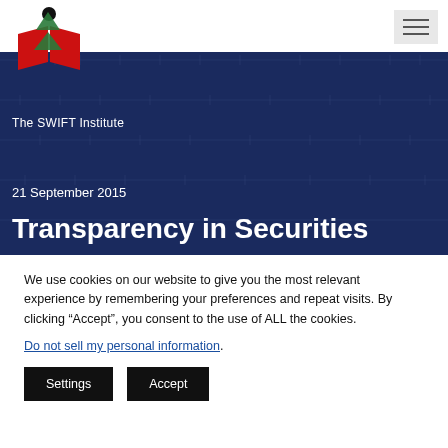[Figure (logo): The SWIFT Institute logo — red open book with a black dot above it, and green triangle shapes]
The SWIFT Institute
21 September 2015
Transparency in Securities
We use cookies on our website to give you the most relevant experience by remembering your preferences and repeat visits. By clicking “Accept”, you consent to the use of ALL the cookies.
Do not sell my personal information.
Settings
Accept